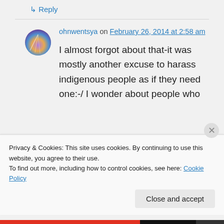↳ Reply
ohnwentsya on February 26, 2014 at 2:58 am
I almost forgot about that-it was mostly another excuse to harass indigenous people as if they need one:-/ I wonder about people who
Privacy & Cookies: This site uses cookies. By continuing to use this website, you agree to their use.
To find out more, including how to control cookies, see here: Cookie Policy
Close and accept